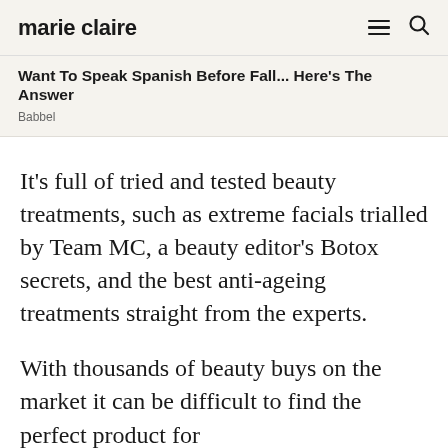marie claire
Want To Speak Spanish Before Fall... Here's The Answer
Babbel
It's full of tried and tested beauty treatments, such as extreme facials trialled by Team MC, a beauty editor's Botox secrets, and the best anti-ageing treatments straight from the experts.
With thousands of beauty buys on the market it can be difficult to find the perfect product for